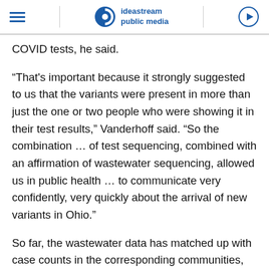ideastream public media
COVID tests, he said.
“That's important because it strongly suggested to us that the variants were present in more than just the one or two people who were showing it in their test results,” Vanderhoff said. “So the combination … of test sequencing, combined with an affirmation of wastewater sequencing, allowed us in public health … to communicate very confidently, very quickly about the arrival of new variants in Ohio.”
So far, the wastewater data has matched up with case counts in the corresponding communities, Vanderhoff added.